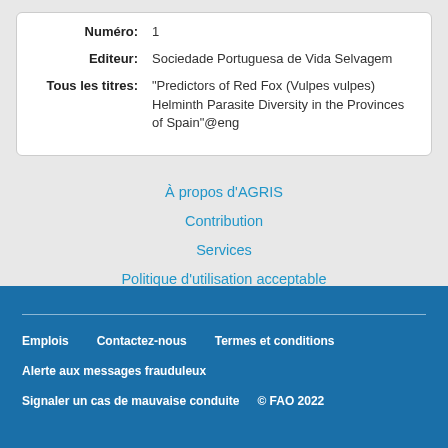| Numéro: | 1 |
| Editeur: | Sociedade Portuguesa de Vida Selvagem |
| Tous les titres: | "Predictors of Red Fox (Vulpes vulpes) Helminth Parasite Diversity in the Provinces of Spain"@eng |
À propos d'AGRIS
Contribution
Services
Politique d'utilisation acceptable
Retour d'information
Emplois   Contactez-nous   Termes et conditions   Alerte aux messages frauduleux   Signaler un cas de mauvaise conduite   © FAO 2022